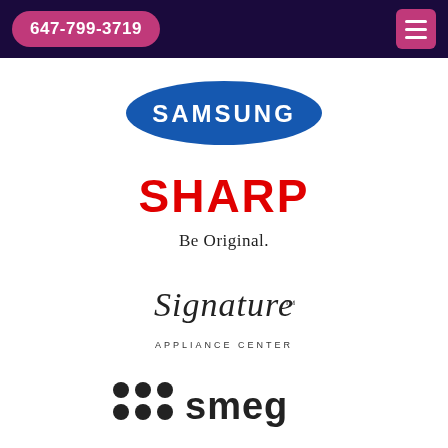647-799-3719
[Figure (logo): Samsung logo — blue ellipse with SAMSUNG text in white]
[Figure (logo): Sharp logo — red bold SHARP text with tagline 'Be Original.' below in serif font]
[Figure (logo): Signature Appliance Center logo — cursive script 'Signature' with 'APPLIANCE CENTER' in small caps below]
[Figure (logo): smeg logo — black dots pattern followed by 'smeg' lowercase text]